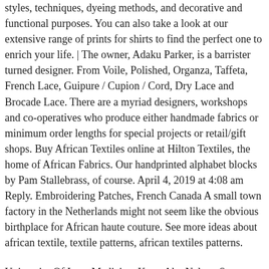styles, techniques, dyeing methods, and decorative and functional purposes. You can also take a look at our extensive range of prints for shirts to find the perfect one to enrich your life. | The owner, Adaku Parker, is a barrister turned designer. From Voile, Polished, Organza, Taffeta, French Lace, Guipure / Cupion / Cord, Dry Lace and Brocade Lace. There are a myriad designers, workshops and co-operatives who produce either handmade fabrics or minimum order lengths for special projects or retail/gift shops. Buy African Textiles online at Hilton Textiles, the home of African Fabrics. Our handprinted alphabet blocks by Pam Stallebrass, of course. April 4, 2019 at 4:08 am Reply. Embroidering Patches, French Canada A small town factory in the Netherlands might not seem like the obvious birthplace for African haute couture. See more ideas about african textile, textile patterns, african textiles patterns.
University Of Iowa Medicine, Kung Ako Nalang Sana Chords December Avenue, Us Dollar Rate In 2008 In Pakistan, California Institute Of Technology Graduate Studies, Rulett Portuguese Water Dogs, John 1:16–17 Reflection, Stages Of Crawling To Walking,